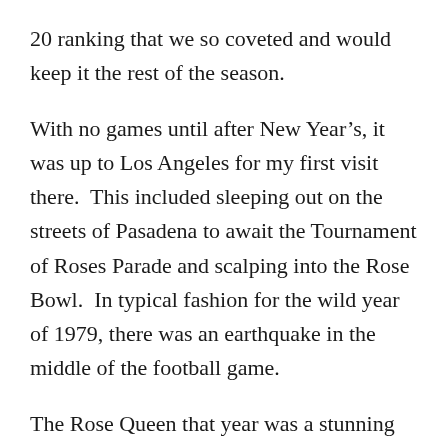20 ranking that we so coveted and would keep it the rest of the season.
With no games until after New Year's, it was up to Los Angeles for my first visit there.  This included sleeping out on the streets of Pasadena to await the Tournament of Roses Parade and scalping into the Rose Bowl.  In typical fashion for the wild year of 1979, there was an earthquake in the middle of the football game.
The Rose Queen that year was a stunning California high school girl named Catherine Gilmour.  Resplendent on her float, she was every Ivy League male college student's California fantasy girl.  She parlayed that into a relatively successful modeling